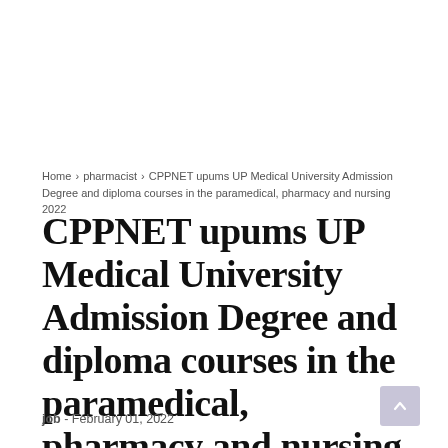Home > pharmacist > CPPNET upums UP Medical University Admission Degree and diploma courses in the paramedical, pharmacy and nursing 2022
CPPNET upums UP Medical University Admission Degree and diploma courses in the paramedical, pharmacy and nursing 2022
job - February 01, 2022